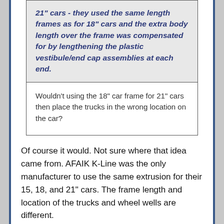21" cars - they used the same length frames as for 18" cars and the extra body length over the frame was compensated for by lengthening the plastic vestibule/end cap assemblies at each end.
Wouldn't using the 18" car frame for 21" cars then place the trucks in the wrong location on the car?
Of course it would. Not sure where that idea came from. AFAIK K-Line was the only manufacturer to use the same extrusion for their 15, 18, and 21" cars. The frame length and location of the trucks and wheel wells are different.